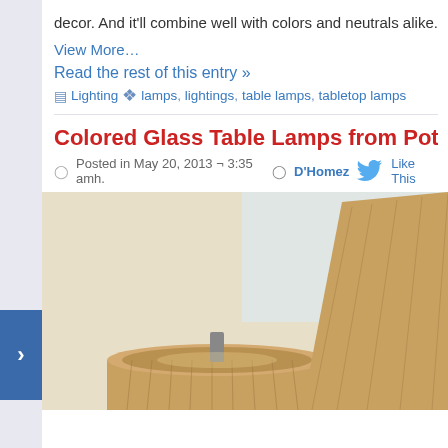decor. And it'll combine well with colors and neutrals alike.
View More…
Read the rest of this entry »
Lighting  lamps, lightings, table lamps, tabletop lamps
Colored Glass Table Lamps from Pottery B
Posted in May 20, 2013 ¬ 3:35 amh. D'Homez  Like This
[Figure (photo): Photo of table lamps with burlap/fabric shades on a light background, cropped view showing two lamps]